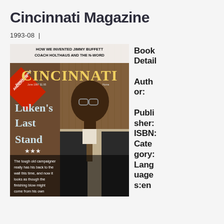Cincinnati Magazine
1993-08  |
[Figure (photo): Cover of Cincinnati Magazine showing a man in glasses and suit with the headline 'Luken's Last Stand' and text 'HOW WE INVENTED JIMMY BUFFETT COACH HOLTHAUS AND THE N-WORD'. The tough old campaigner really has his back to the wall this time, and now it looks as though the finishing blow might come from his own]
Book Detail  Author:  Publisher:  ISBN:  Category:  Languages: en